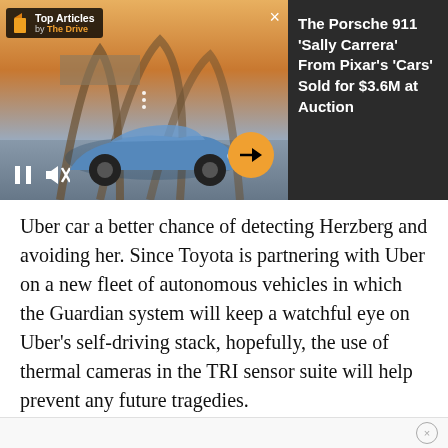[Figure (screenshot): Video ad overlay showing a blue Porsche 911 car with 'Top Articles by The Drive' badge, video playback controls, and article headline about the Porsche 911 Sally Carrera from Pixar's Cars sold for $3.6M at auction]
Uber car a better chance of detecting Herzberg and avoiding her. Since Toyota is partnering with Uber on a new fleet of autonomous vehicles in which the Guardian system will keep a watchful eye on Uber's self-driving stack, hopefully, the use of thermal cameras in the TRI sensor suite will help prevent any future tragedies.